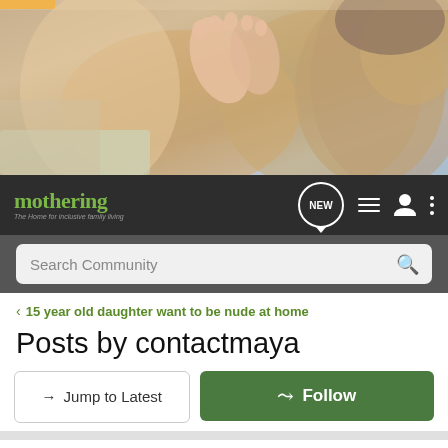[Figure (photo): Header photo of a baby with feet and an adult face close together, warm tones]
mothering — The Home for inclusive family living — navigation bar with NEW bubble, menu, user, and dots icons — Search Community search bar
< 15 year old daughter want to be nude at home
Posts by contactmaya
→ Jump to Latest   ⊕ Follow
🔒 Not open for further replies.
1 - 10 of 14 Posts